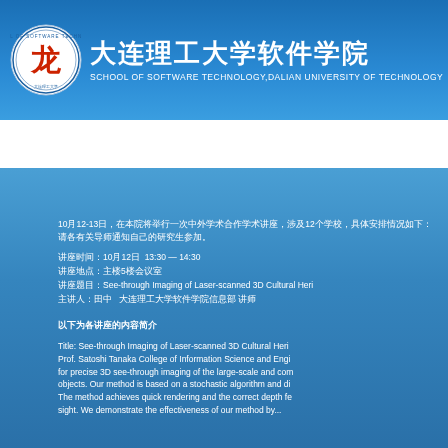[Figure (logo): School of Software Technology, Dalian University of Technology circular logo with red figure and Chinese text]
大连理工大学软件学院
SCHOOL OF SOFTWARE TECHNOLOGY,DALIAN UNIVERSITY OF TECHNOLOGY
首页 | 学院概况 | 学科专业 | 本科生教育 | 研究生教育 | 科学研究与合作 | 教学科研队伍 | 招生就业 | 学生工作
10月12-13日，在本院将举行一次中外学术合作学术讲座，涉及12个学校，具体安排情况如下：
请各有关导师通知自己的研究生参加。
讲座时间：10月12日  13:30 — 14:30
讲座地点：主楼5楼会议室
讲座题目：See-through Imaging of Laser-scanned 3D Cultural Heri
主讲人：田中  大连理工大学软件学院信息部 讲师
以下为各讲座的内容简介
Title: See-through Imaging of Laser-scanned 3D Cultural Heri
Prof. Satoshi Tanaka College of Information Science and Engi
for precise 3D see-through imaging of the large-scale and com
objects. Our method is based on a stochastic algorithm and di
The method achieves quick rendering and the correct depth fe
sight. We demonstrate the effectiveness of our method by...